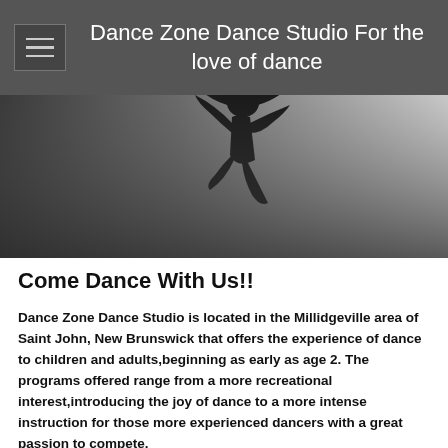Dance Zone Dance Studio For the love of dance
[Figure (photo): Black and white photo of a dancer silhouette jumping mid-air with arms raised and hair flowing, against a light gray background]
Come Dance With Us!!
Dance Zone Dance Studio is located in the Millidgeville area of Saint John, New Brunswick that offers the experience of dance to children and adults,beginning as early as age 2. The programs offered range from a more recreational interest,introducing the joy of dance to a more intense instruction for those more experienced dancers with a great passion to compete.
Studio Location